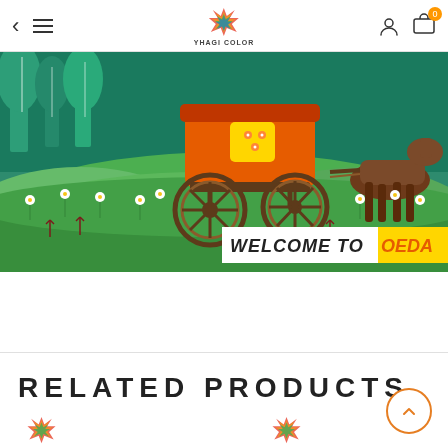YHAGI COLOR — Navigation header with back arrow, hamburger menu, logo, account icon, cart (0)
[Figure (illustration): Colorful illustrated scene: an orange carriage with wooden wheels pulled by a brown horse, set against a green meadow with flowers and trees in a teal forest background. A 'WELCOME TO OEDA' banner overlaid at bottom right.]
RELATED PRODUCTS
[Figure (logo): Yhagi Color logo (small, bottom left)]
[Figure (logo): Yhagi Color logo (small, bottom center)]